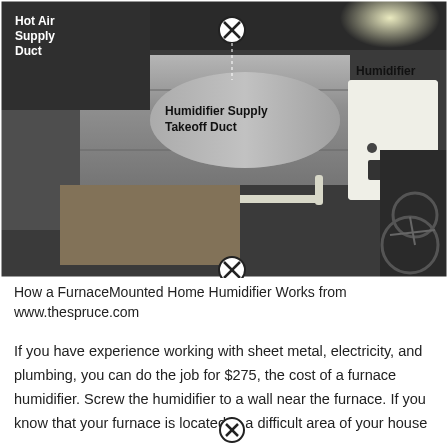[Figure (photo): Photograph of a furnace-mounted home humidifier installation showing a humidifier unit attached to HVAC ductwork. Labels in the image identify 'Hot Air Supply Duct', 'Humidifier Supply Takeoff Duct', and 'Humidifier'. A bicycle is visible in the background.]
How a FurnaceMounted Home Humidifier Works from www.thespruce.com
If you have experience working with sheet metal, electricity, and plumbing, you can do the job for $275, the cost of a furnace humidifier. Screw the humidifier to a wall near the furnace. If you know that your furnace is located in a difficult area of your house